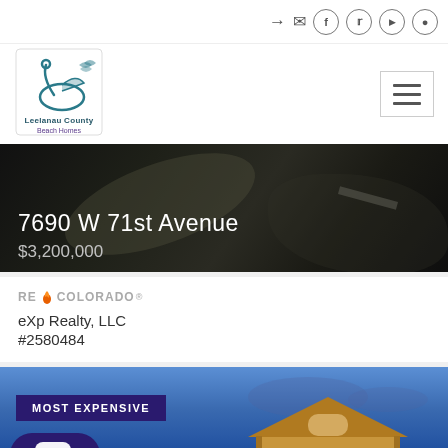Social icons header bar
[Figure (logo): Leelanau County Beach Homes logo with swan illustration]
[Figure (screenshot): Property listing card: 7690 W 71st Avenue, $3,200,000 with dark overlay on aerial photo background]
7690 W 71st Avenue
$3,200,000
[Figure (logo): RE/Colorado logo]
eXp Realty, LLC
#2580484
[Figure (photo): Partial property listing with MOST EXPENSIVE badge on blue sky background with house silhouette]